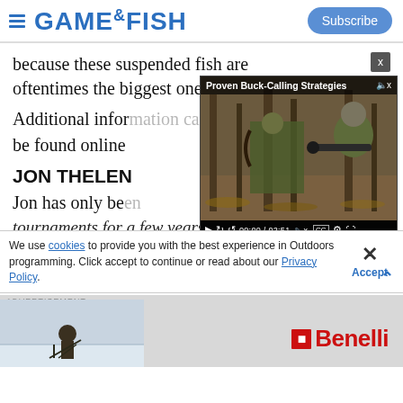GAME&FISH | Subscribe
because these suspended fish are oftentimes the biggest ones!"
[Figure (screenshot): Embedded video player overlay titled 'Proven Buck-Calling Strategies' showing a hunter in camouflage aiming a rifle from a tree stand. Controls show 00:00 / 02:51.]
Additional information can be found online
JON THELEN
Jon has only been tournaments for a few years, but he is ranked among
We use cookies to provide you with the best experience in Outdoors programming. Click accept to continue or read about our Privacy Policy.
[Figure (logo): Benelli firearms brand advertisement showing a hunter on a frozen lake with the Benelli logo in red and black.]